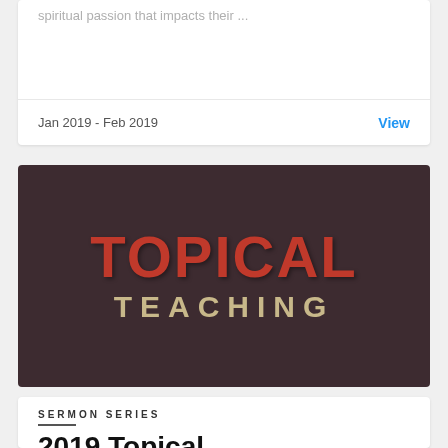spiritual passion that impacts their ...
Jan 2019 - Feb 2019
View
[Figure (illustration): Dark maroon/brown background with bold red block letters spelling TOPICAL on top and beige/tan letters spelling TEACHING below in wide-spaced uppercase.]
SERMON SERIES
2019 Topical...